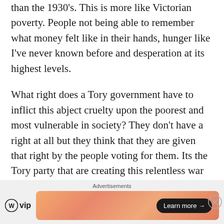than the 1930's. This is more like Victorian poverty. People not being able to remember what money felt like in their hands, hunger like I've never known before and desperation at its highest levels.
What right does a Tory government have to inflict this abject cruelty upon the poorest and most vulnerable in society? They don't have a right at all but they think that they are given that right by the people voting for them. Its the Tory party that are creating this relentless war against the poor, and its the rich Tory party
[Figure (other): Advertisement bar with WordPress VIP logo on the left and an orange/peach gradient banner ad with a 'Learn more →' button on the right. 'Advertisements' label at top center. Close button (×) at far right.]